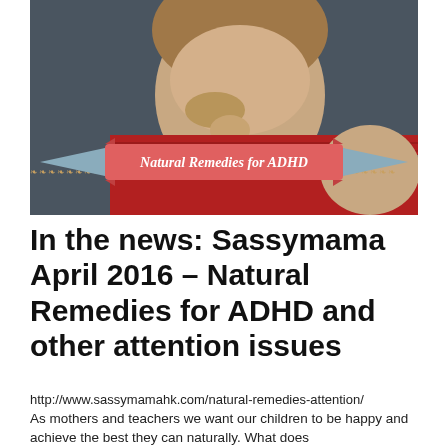[Figure (photo): Young boy with short blond/brown hair hiding his face behind a red and grey striped scarf, photographed against a dark grey background. A banner overlay reads 'Natural Remedies for ADHD' in a coral/salmon coloured ribbon with decorative elements on each side.]
In the news: Sassymama April 2016 – Natural Remedies for ADHD and other attention issues
http://www.sassymamahk.com/natural-remedies-attention/
As mothers and teachers we want our children to be happy and achieve the best they can naturally. What does